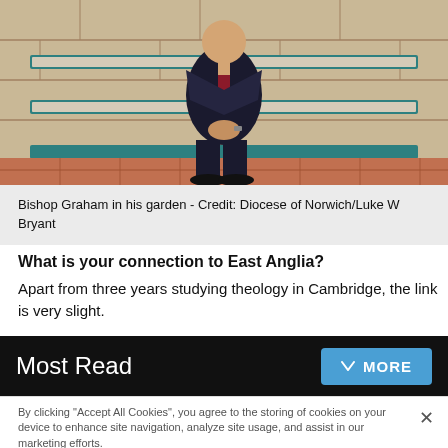[Figure (photo): A man in a dark suit and red tie sitting on a teal/green wooden bench against a stone wall, with his hands clasped together. He is wearing black shoes and sitting with legs crossed at the ankle.]
Bishop Graham in his garden - Credit: Diocese of Norwich/Luke W Bryant
What is your connection to East Anglia?
Apart from three years studying theology in Cambridge, the link is very slight.
Most Read
By clicking "Accept All Cookies", you agree to the storing of cookies on your device to enhance site navigation, analyze site usage, and assist in our marketing efforts.